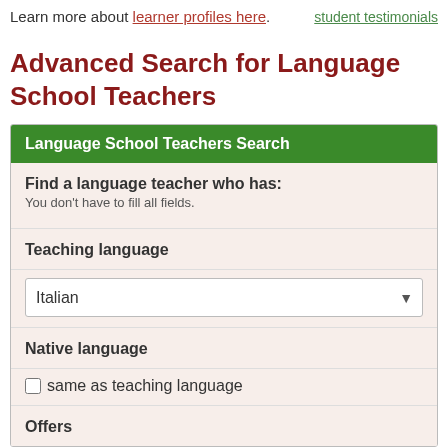Learn more about learner profiles here.
student testimonials
Advanced Search for Language School Teachers
Language School Teachers Search
Find a language teacher who has:
You don't have to fill all fields.
Teaching language
Italian
Native language
same as teaching language
Offers